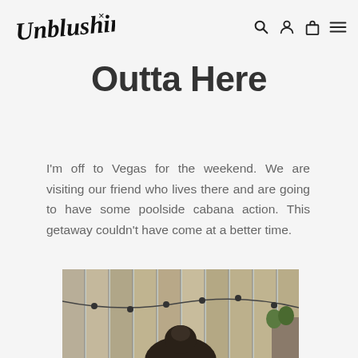Unblushing [logo and navigation icons]
Outta Here
I'm off to Vegas for the weekend. We are visiting our friend who lives there and are going to have some poolside cabana action. This getaway couldn't have come at a better time.
[Figure (photo): Outdoor photo showing a wooden fence with string lights and a person with dark hair, bun style, viewed from behind.]